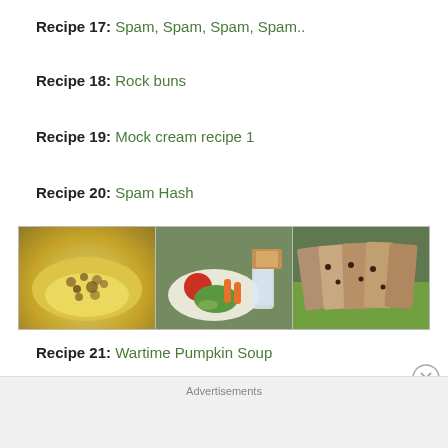Recipe 17: Spam, Spam, Spam, Spam..
Recipe 18: Rock buns
Recipe 19: Mock cream recipe 1
Recipe 20: Spam Hash
[Figure (photo): Three food photos side by side: a plate with crumble topping on yellow base, a plate with vegetables (tomato, lettuce, carrots, pickle) and a glass of milk with bread, and sliced dark bread with raisins on green background]
Recipe 21: Wartime Pumpkin Soup
Advertisements